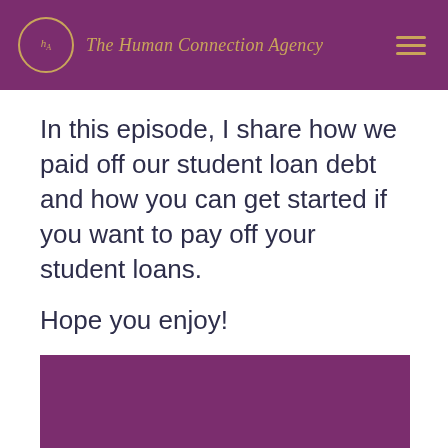The Human Connection Agency
In this episode, I share how we paid off our student loan debt and how you can get started if you want to pay off your student loans.
Hope you enjoy!
[Figure (photo): Purple/maroon colored rectangle block, likely a video thumbnail or decorative image element]